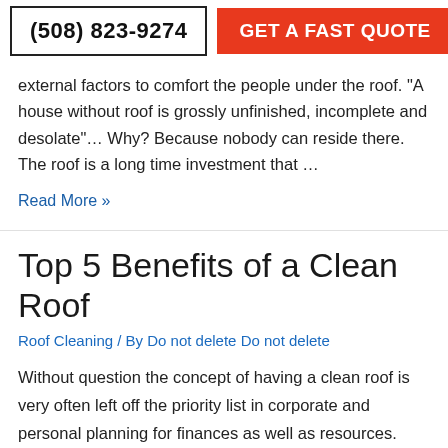We all know that roof is one of the most essential parts of a
(508) 823-9274
GET A FAST QUOTE
external factors to comfort the people under the roof. "A house without roof is grossly unfinished, incomplete and desolate"… Why? Because nobody can reside there. The roof is a long time investment that …
Read More »
Top 5 Benefits of a Clean Roof
Roof Cleaning / By Do not delete Do not delete
Without question the concept of having a clean roof is very often left off the priority list in corporate and personal planning for finances as well as resources. However, this is often because there is a common misconception that a clean roof is not going to give you any benefits other than it looks good.  …